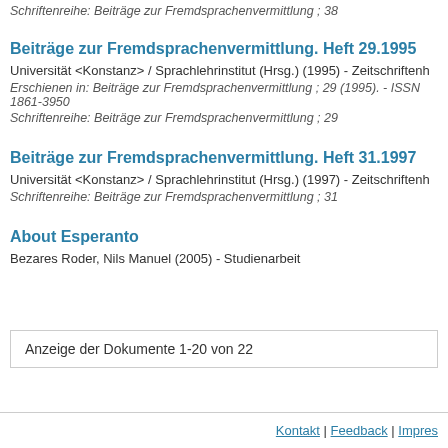Schriftenreihe: Beiträge zur Fremdsprachenvermittlung ; 38
Beiträge zur Fremdsprachenvermittlung. Heft 29.1995
Universität <Konstanz> / Sprachlehrinstitut (Hrsg.) (1995) - Zeitschriftenh
Erschienen in: Beiträge zur Fremdsprachenvermittlung ; 29 (1995). - ISSN 1861-3950
Schriftenreihe: Beiträge zur Fremdsprachenvermittlung ; 29
Beiträge zur Fremdsprachenvermittlung. Heft 31.1997
Universität <Konstanz> / Sprachlehrinstitut (Hrsg.) (1997) - Zeitschriftenh
Schriftenreihe: Beiträge zur Fremdsprachenvermittlung ; 31
About Esperanto
Bezares Roder, Nils Manuel (2005) - Studienarbeit
Anzeige der Dokumente 1-20 von 22
Kontakt | Feedback | Impres